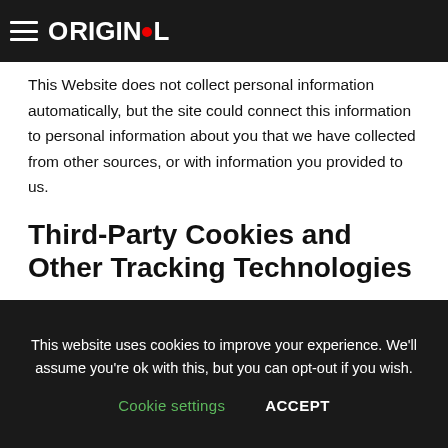ORIGINOL
This Website does not collect personal information automatically, but the site could connect this information to personal information about you that we have collected from other sources, or with information you provided to us.
Third-Party Cookies and Other Tracking Technologies
Some of the applications, content, or advertisements on this Website may be served by third-parties such as ad networks, servers, advertisers, application and content providers. These third-parties may use cookies alone or in
This website uses cookies to improve your experience. We'll assume you're ok with this, but you can opt-out if you wish.
Cookie settings   ACCEPT